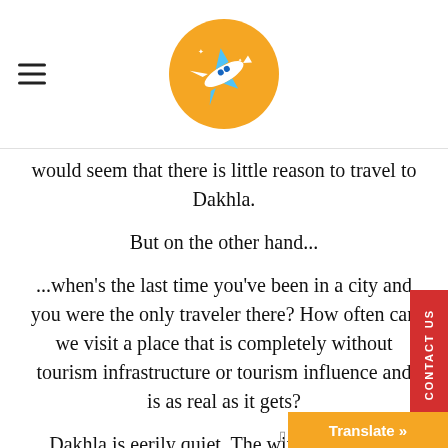would seem that there is little reason to travel to Dakhla.
But on the other hand...
...when’s the last time you’ve been in a city and you were the only traveler there? How often can we visit a place that is completely without tourism infrastructure or tourism influence and is as real as it gets?
Dakhla is eerily quiet. The wind really does hurt. You’ll inhale a good amount of sand, too. You’ll spend a lot of time sitting on bench